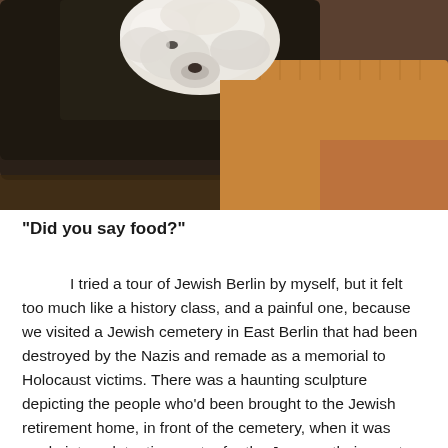[Figure (photo): Close-up photo of a small white fluffy dog resting its head on a dark leather surface, with an orange/tan cushion or fabric beside it.]
“Did you say food?”
I tried a tour of Jewish Berlin by myself, but it felt too much like a history class, and a painful one, because we visited a Jewish cemetery in East Berlin that had been destroyed by the Nazis and remade as a memorial to Holocaust victims. There was a haunting sculpture depicting the people who’d been brought to the Jewish retirement home, in front of the cemetery, when it was made into a detention center for the Jews on their way to the death camps. I made it through the whole tour, and found it interesting, but I wasn’t up to the next three tours